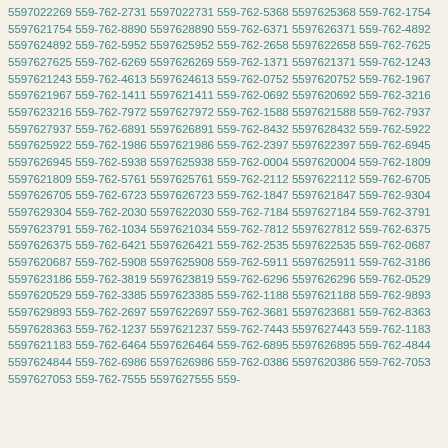5597022269 559-762-2731 5597022731 559-762-5368 5597625368 559-762-1754 5597621754 559-762-8890 5597628890 559-762-6371 5597626371 559-762-4892 5597624892 559-762-5952 5597625952 559-762-2658 5597622658 559-762-7625 5597627625 559-762-6269 5597626269 559-762-1371 5597621371 559-762-1243 5597621243 559-762-4613 5597624613 559-762-0752 5597620752 559-762-1967 5597621967 559-762-1411 5597621411 559-762-0692 5597620692 559-762-3216 5597623216 559-762-7972 5597627972 559-762-1588 5597621588 559-762-7937 5597627937 559-762-6891 5597626891 559-762-8432 5597628432 559-762-5922 5597625922 559-762-1986 5597621986 559-762-2397 5597622397 559-762-6945 5597626945 559-762-5938 5597625938 559-762-0004 5597620004 559-762-1809 5597621809 559-762-5761 5597625761 559-762-2112 5597622112 559-762-6705 5597626705 559-762-6723 5597626723 559-762-1847 5597621847 559-762-9304 5597629304 559-762-2030 5597622030 559-762-7184 5597627184 559-762-3791 5597623791 559-762-1034 5597621034 559-762-7812 5597627812 559-762-6375 5597626375 559-762-6421 5597626421 559-762-2535 5597622535 559-762-0687 5597620687 559-762-5908 5597625908 559-762-5911 5597625911 559-762-3186 5597623186 559-762-3819 5597623819 559-762-6296 5597626296 559-762-0529 5597620529 559-762-3385 5597623385 559-762-1188 5597621188 559-762-9893 5597629893 559-762-2697 5597622697 559-762-3681 5597623681 559-762-8363 5597628363 559-762-1237 5597621237 559-762-7443 5597627443 559-762-1183 5597621183 559-762-6464 5597626464 559-762-6895 5597626895 559-762-4844 5597624844 559-762-6986 5597626986 559-762-0386 5597620386 559-762-7053 5597627053 559-762-7555 5597627555 559-